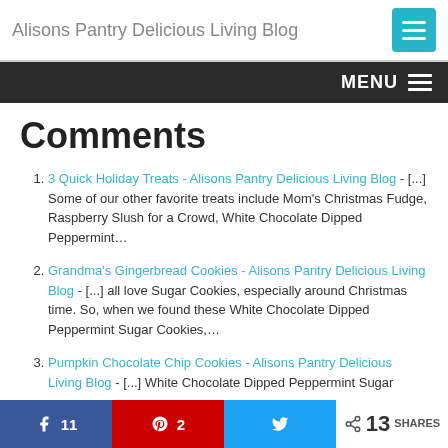Alisons Pantry Delicious Living Blog
MENU
Comments
3 Quick Holiday Treats - Alisons Pantry Delicious Living Blog - [...] Some of our other favorite treats include Mom's Christmas Fudge, Raspberry Slush for a Crowd, White Chocolate Dipped Peppermint…
Grandma's Gingerbread Cookies - Alisons Pantry Delicious Living Blog - [...] all love Sugar Cookies, especially around Christmas time. So, when we found these White Chocolate Dipped Peppermint Sugar Cookies,…
Pumpkin Chocolate Chip Cookies - Alisons Pantry Delicious Living Blog - [...] White Chocolate Dipped Peppermint Sugar
Share 11  2  13 SHARES